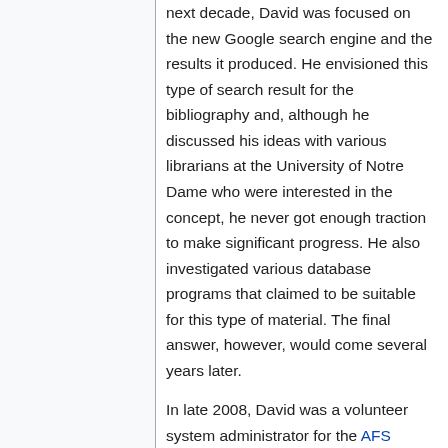next decade, David was focused on the new Google search engine and the results it produced. He envisioned this type of search result for the bibliography and, although he discussed his ideas with various librarians at the University of Notre Dame who were interested in the concept, he never got enough traction to make significant progress. He also investigated various database programs that claimed to be suitable for this type of material. The final answer, however, would come several years later.
In late 2008, David was a volunteer system administrator for the AFS Intercultural Programs, a high school foreign exchange organization that was building a Wiki system to disseminate information to the 5000 volunteers throughout the United States. As he